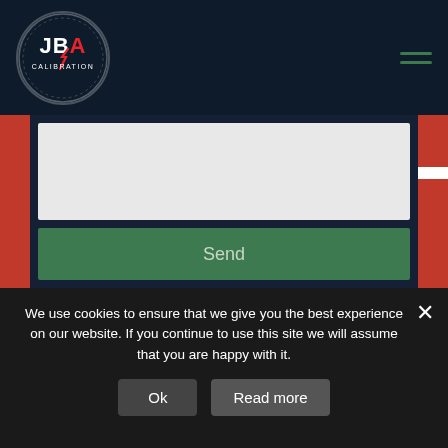[Figure (logo): JBA Calibration circular logo with red and white design on dark navy background]
[Figure (other): Hamburger menu icon with two green horizontal lines]
[Figure (other): Large light gray empty textarea/form input area with dark navy background and red side accents]
Send
We use cookies to ensure that we give you the best experience on our website. If you continue to use this site we will assume that you are happy with it.
Ok
Read more